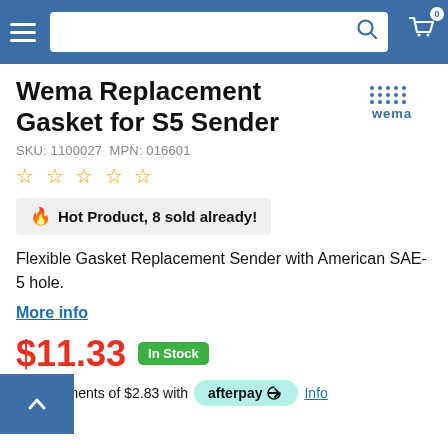Navigation header with hamburger menu, search bar, and cart icon
Wema Replacement Gasket for S5 Sender
SKU: 1100027  MPN: 016601
☆☆☆☆☆
🔥 Hot Product, 8 sold already!
Flexible Gasket Replacement Sender with American SAE-5 hole.
More info
$11.33  In Stock
or 4 payments of $2.83 with afterpay Info